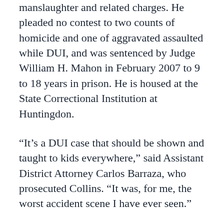manslaughter and related charges. He pleaded no contest to two counts of homicide and one of aggravated assaulted while DUI, and was sentenced by Judge William H. Mahon in February 2007 to 9 to 18 years in prison. He is housed at the State Correctional Institution at Huntingdon.
“It’s a DUI case that should be shown and taught to kids everywhere,” said Assistant District Attorney Carlos Barraza, who prosecuted Collins. “It was, for me, the worst accident scene I have ever seen.”
The case resonated with Mahon as well, but for a different reason. It was Mahon, who in January 2003, sentenced Cesar Arreola-Solis to 11 to 23 months in prison and 1,000 hours of community service for the shooting that left